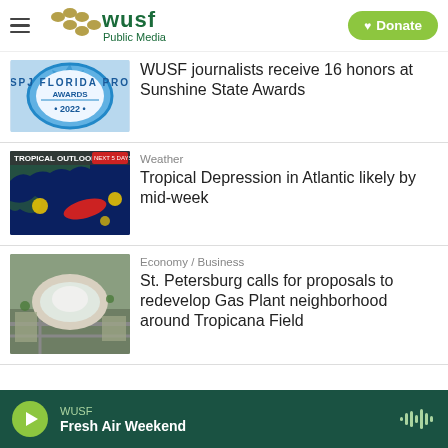[Figure (logo): WUSF Public Media logo with golden dots and green text, hamburger menu icon on left, green Donate button on right]
[Figure (photo): SPJ Florida Pro Awards 2022 blue ribbon badge]
WUSF journalists receive 16 honors at Sunshine State Awards
[Figure (screenshot): Tropical Outlook weather map showing tropical depression in Atlantic, blue ocean background with red storm marker]
Weather
Tropical Depression in Atlantic likely by mid-week
[Figure (photo): Aerial photo of Tropicana Field stadium in St. Petersburg, Florida]
Economy / Business
St. Petersburg calls for proposals to redevelop Gas Plant neighborhood around Tropicana Field
WUSF Fresh Air Weekend